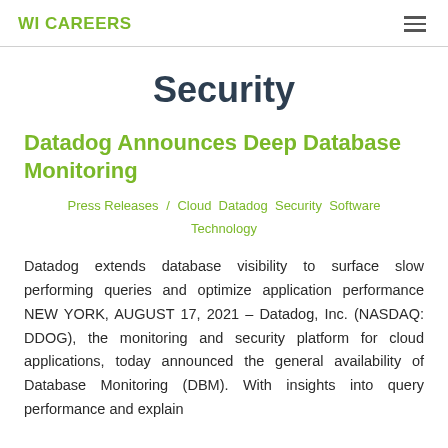WI CAREERS
Security
Datadog Announces Deep Database Monitoring
Press Releases / Cloud Datadog Security Software Technology
Datadog extends database visibility to surface slow performing queries and optimize application performance NEW YORK, AUGUST 17, 2021 – Datadog, Inc. (NASDAQ: DDOG), the monitoring and security platform for cloud applications, today announced the general availability of Database Monitoring (DBM). With insights into query performance and explain